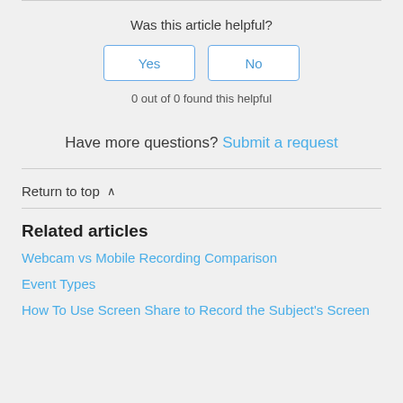Was this article helpful?
Yes   No
0 out of 0 found this helpful
Have more questions? Submit a request
Return to top ∧
Related articles
Webcam vs Mobile Recording Comparison
Event Types
How To Use Screen Share to Record the Subject's Screen